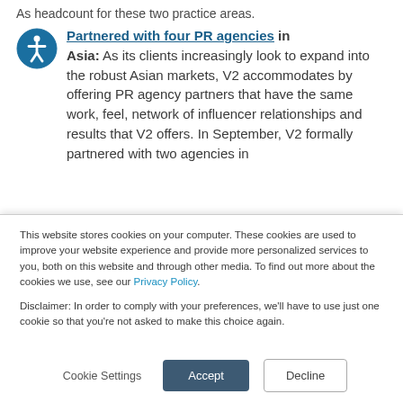As headcount for these two practice areas.
Partnered with four PR agencies in Asia: As its clients increasingly look to expand into the robust Asian markets, V2 accommodates by offering PR agency partners that have the same work, feel, network of influencer relationships and results that V2 offers. In September, V2 formally partnered with two agencies in
This website stores cookies on your computer. These cookies are used to improve your website experience and provide more personalized services to you, both on this website and through other media. To find out more about the cookies we use, see our Privacy Policy.
Disclaimer: In order to comply with your preferences, we'll have to use just one cookie so that you're not asked to make this choice again.
Cookie Settings  Accept  Decline